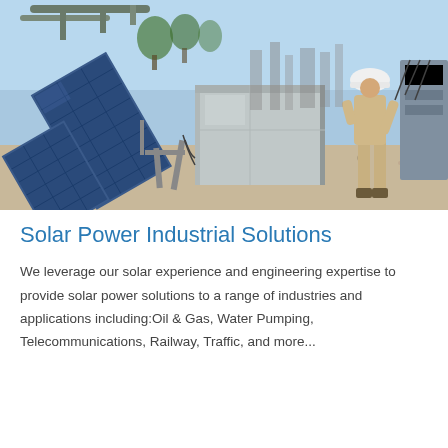[Figure (photo): Industrial solar panel installation with a metal enclosure/control box on gravel ground, tilted solar panels on the left, and a worker in a hard hat and beige coveralls on the right inspecting electrical equipment. Industrial pipes and machinery visible in the background under a blue sky.]
Solar Power Industrial Solutions
We leverage our solar experience and engineering expertise to provide solar power solutions to a range of industries and applications including:Oil & Gas, Water Pumping, Telecommunications, Railway, Traffic, and more...